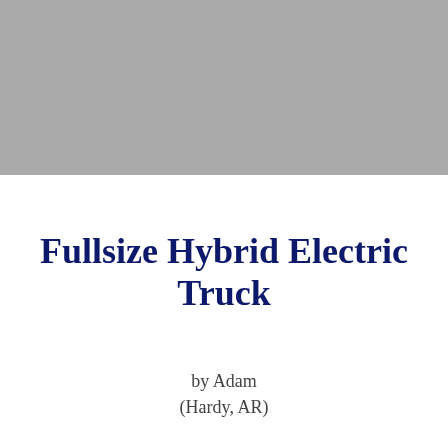[Figure (photo): Gray placeholder image area representing a vehicle photo]
Fullsize Hybrid Electric Truck
by Adam
(Hardy, AR)